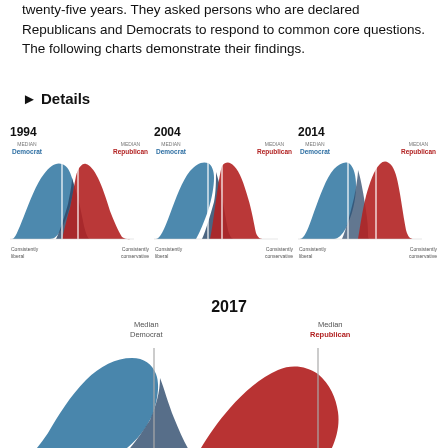twenty-five years. They asked persons who are declared Republicans and Democrats to respond to common core questions. The following charts demonstrate their findings.
▶ Details
[Figure (area-chart): Overlapping area chart showing distribution of Democrat (blue) and Republican (red) political values from Consistently liberal to Consistently conservative, with median lines marked for each party. 1994 shows significant overlap.]
[Figure (area-chart): Overlapping area chart showing distribution of Democrat (blue) and Republican (red) political values. 2004 shows the distributions beginning to separate.]
[Figure (area-chart): Overlapping area chart showing distribution of Democrat (blue) and Republican (red) political values. 2014 shows greater separation between the two parties.]
[Figure (area-chart): Large overlapping area chart showing distribution of Democrat (blue) and Republican (red) political values in 2017 with Median Democrat and Median Republican lines marked. Shows significant polarization.]